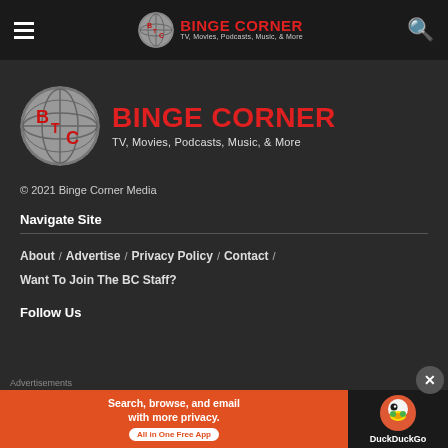BINGE CORNER — TV, Movies, Podcasts, Music, & More (navigation bar)
[Figure (logo): Binge Corner logo — globe with BTC text and red BINGE CORNER brand name with tagline TV, Movies, Podcasts, Music, & More]
© 2021 Binge Corner Media
Navigate Site
About / Advertise / Privacy Policy / Contact / Want To Join The BC Staff?
Follow Us
[Figure (screenshot): DuckDuckGo advertisement banner: Search, browse, and email with more privacy. All in One Free App — with DuckDuckGo duck logo on dark background]